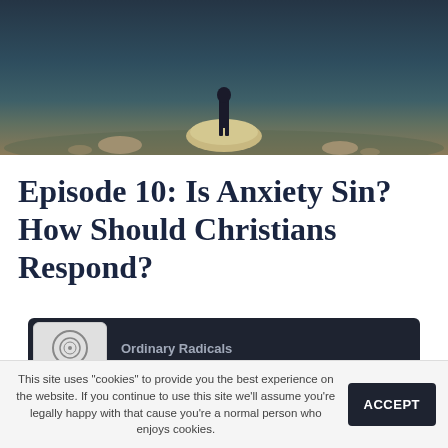[Figure (photo): A person standing on a large rock in a body of water, viewed from a distance, with a muted blue-green and earthy color palette.]
Episode 10: Is Anxiety Sin? How Should Christians Respond?
[Figure (screenshot): Podcast player bar showing 'Ordinary Radicals' logo and episode title 'Episode 10: Is Anxiety Sin? How Should Chr...' on a dark background.]
This site uses "cookies" to provide you the best experience on the website. If you continue to use this site we'll assume you're legally happy with that cause you're a normal person who enjoys cookies.